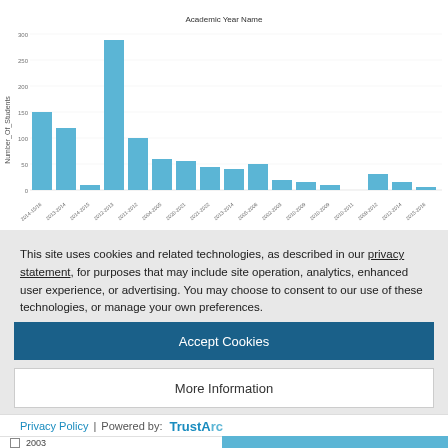Current Analysis Step
[Figure (bar-chart): Academic Year Name]
This site uses cookies and related technologies, as described in our privacy statement, for purposes that may include site operation, analytics, enhanced user experience, or advertising. You may choose to consent to our use of these technologies, or manage your own preferences.
Accept Cookies
More Information
Privacy Policy | Powered by: TrustArc